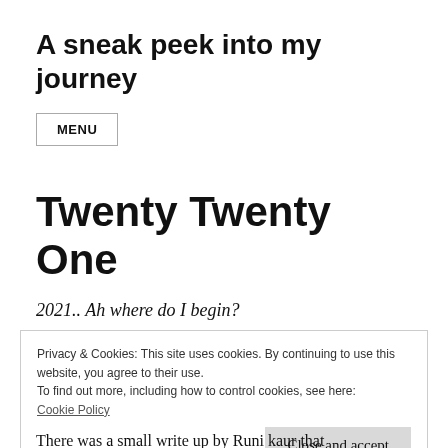A sneak peek into my journey
MENU
Twenty Twenty One
2021.. Ah where do I begin?
Privacy & Cookies: This site uses cookies. By continuing to use this website, you agree to their use.
To find out more, including how to control cookies, see here:
Cookie Policy
Close and accept
There was a small write up by Runi kaur that